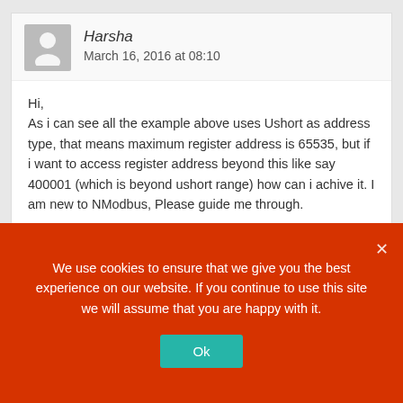Harsha
March 16, 2016 at 08:10
Hi,
As i can see all the example above uses Ushort as address type, that means maximum register address is 65535, but if i want to access register address beyond this like say 400001 (which is beyond ushort range) how can i achive it. I am new to NModbus, Please guide me through.

Regards
Harsha
We use cookies to ensure that we give you the best experience on our website. If you continue to use this site we will assume that you are happy with it.